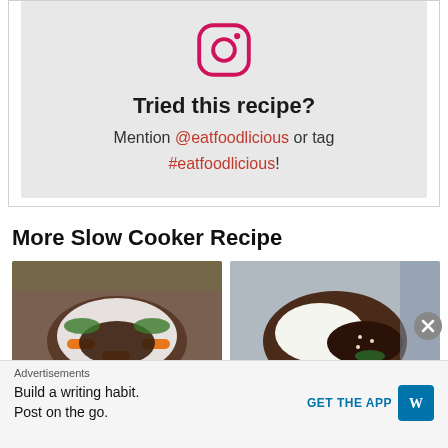[Figure (infographic): Instagram call-to-action box with Instagram icon, 'Tried this recipe?' heading, and mention/tag instructions with @eatfoodlicious and #eatfoodlicious links]
More Slow Cooker Recipe
[Figure (photo): Photo of slow cooker pot roast with carrots and vegetables on a white plate]
[Figure (photo): Photo of slow cooker beef dish served over white rice in a dark bowl]
Advertisements
Build a writing habit. Post on the go.
GET THE APP